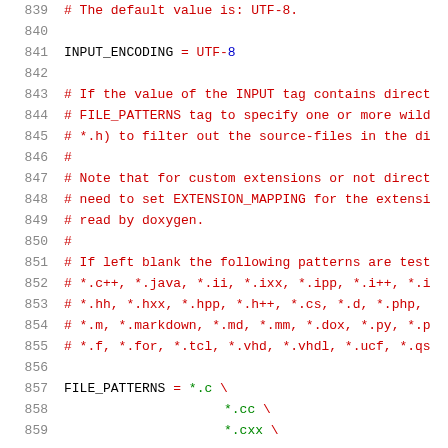839  # The default value is: UTF-8.
840
841  INPUT_ENCODING           = UTF-8
842
843  # If the value of the INPUT tag contains direct
844  # FILE_PATTERNS tag to specify one or more wild
845  # *.h) to filter out the source-files in the di
846  #
847  # Note that for custom extensions or not direct
848  # need to set EXTENSION_MAPPING for the extensi
849  # read by doxygen.
850  #
851  # If left blank the following patterns are test
852  # *.c++, *.java, *.ii, *.ixx, *.ipp, *.i++, *.i
853  # *.hh, *.hxx, *.hpp, *.h++, *.cs, *.d, *.php,
854  # *.m, *.markdown, *.md, *.mm, *.dox, *.py, *.p
855  # *.f, *.for, *.tcl, *.vhd, *.vhdl, *.ucf, *.qs
856
857  FILE_PATTERNS          = *.c \
858                             *.cc \
859                             *.cxx \